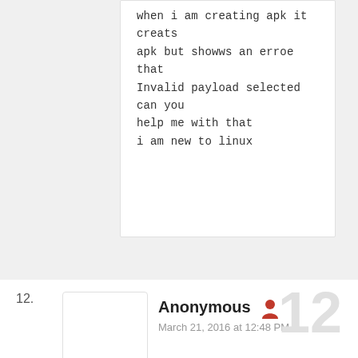when i am creating apk it creats apk but showws an erroe that Invalid payload selected can you help me with that
i am new to linux
12.
Anonymous
March 21, 2016 at 12:48 PM
12
I have Samsung galaxy S4 which I have currently rooted before, and I already tried everything writed in this post but the apk didnt installed in my smartphone and not connected with my kali. what should I do?
Reply